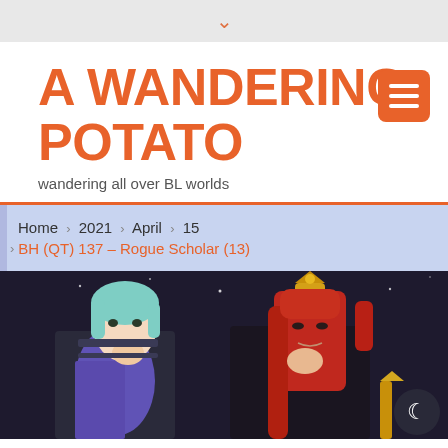▾
A WANDERING POTATO
wandering all over BL worlds
Home › 2021 › April › 15 › BH (QT) 137 – Rogue Scholar (13)
[Figure (illustration): Manga-style illustration of two characters: one with light blue-green hair wearing dark armor with a purple cape, and another with long red hair wearing a golden crown and dark clothing. Set against a dark background.]